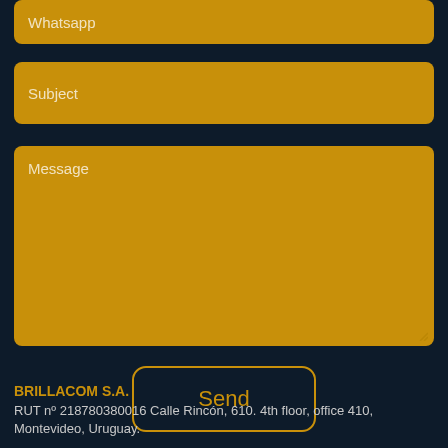Whatsapp
Subject
Message
Send
BRILLACOM S.A.
RUT nº 218780380016 Calle Rincón, 610. 4th floor, office 410, Montevideo, Uruguay.